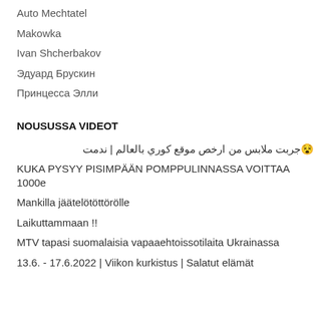Auto Mechtatel
Makowka
Ivan Shcherbakov
Эдуард Брускин
Принцесса Элли
NOUSUSSA VIDEOT
😵جربت ملابس من ارخص موقع كوري بالعالم | ندمت
KUKA PYSYY PISIMPÄÄN POMPPULINNASSA VOITTAA 1000e
Mankilla jäätelötöttörölle
Laikuttammaan !!
MTV tapasi suomalaisia vapaaehtoissotilaita Ukrainassa
13.6. - 17.6.2022 | Viikon kurkistus | Salatut elämät